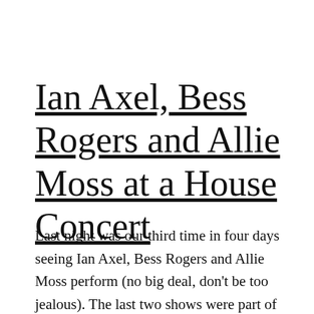Ian Axel, Bess Rogers and Allie Moss at a House Concert
Last night was our third time in four days seeing Ian Axel, Bess Rogers and Allie Moss perform (no big deal, don't be too jealous). The last two shows were part of the Intergalactic Tour of the Universe and Beyond Tour. All three shows were unique